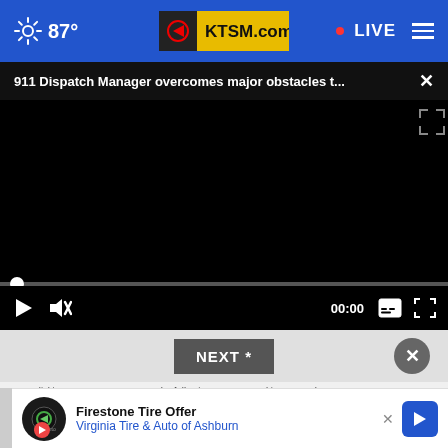87° KTSM.com LIVE
911 Dispatch Manager overcomes major obstacles t...
[Figure (screenshot): Black video player area with progress bar and playback controls showing 00:00]
NEXT *
* By clicking "NEXT" you agree to the following: We use cookies to reach your... reach...
[Figure (other): Firestone Tire Offer advertisement - Virginia Tire & Auto of Ashburn]